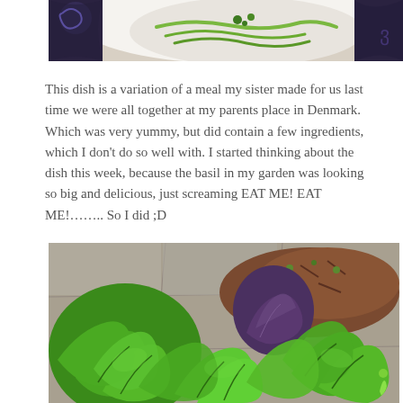[Figure (photo): Photo of a dish with vegetables (zucchini/greens) in a white bowl with decorative blue rim, partial view]
This dish is a variation of a meal my sister made for us last time we were all together at my parents place in Denmark. Which was very yummy, but did contain a few ingredients, which I don't do so well with. I started thinking about the dish this week, because the basil in my garden was looking so big and delicious, just screaming EAT ME! EAT ME!…….. So I did ;D
[Figure (photo): Photo of large green basil plants growing in a garden container, with some purple basil and soil/mulch visible in the background]